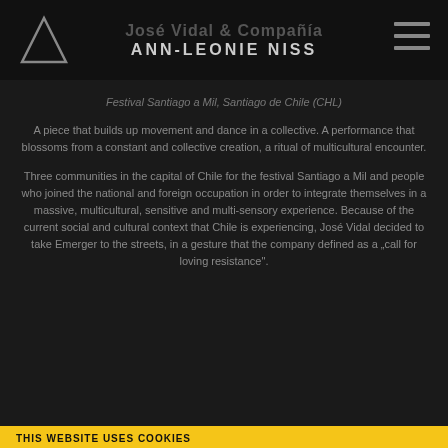José Vidal & Compañía ANN-LEONIE NISS
Festival Santiago a Mil, Santiago de Chile (CHL)
A piece that builds up movement and dance in a collective. A performance that blossoms from a constant and collective creation, a ritual of multicultural encounter.
Three communities in the capital of Chile for the festival Santiago a Mil and people who joined the national and foreign occupation in order to integrate themselves in a massive, multicultural, sensitive and multi-sensory experience. Because of the current social and cultural context that Chile is experiencing, José Vidal decided to take Emerger to the streets, in a gesture that the company defined as a „call for loving resistance".
THIS WEBSITE USES COOKIES